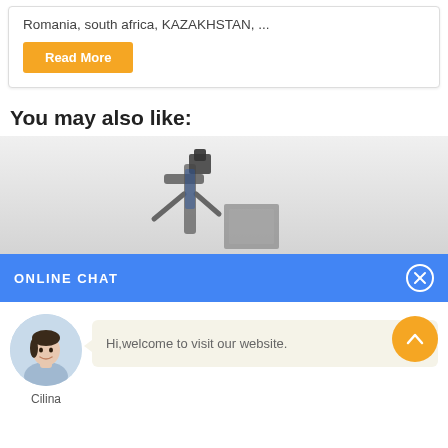Romania, south africa, KAZAKHSTAN, ...
Read More
You may also like:
[Figure (photo): Industrial/medical machine equipment shown partially, with a gradient grey background]
ONLINE CHAT
[Figure (photo): Avatar of a female agent named Cilina]
Cilina
Hi,welcome to visit our website.